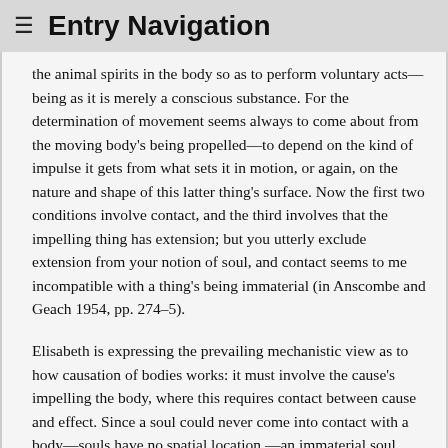≡ Entry Navigation
the animal spirits in the body so as to perform voluntary acts—being as it is merely a conscious substance. For the determination of movement seems always to come about from the moving body's being propelled—to depend on the kind of impulse it gets from what sets it in motion, or again, on the nature and shape of this latter thing's surface. Now the first two conditions involve contact, and the third involves that the impelling thing has extension; but you utterly exclude extension from your notion of soul, and contact seems to me incompatible with a thing's being immaterial (in Anscombe and Geach 1954, pp. 274–5).
Elisabeth is expressing the prevailing mechanistic view as to how causation of bodies works: it must involve the cause's impelling the body, where this requires contact between cause and effect. Since a soul could never come into contact with a body—souls have no spatial location —an immaterial soul could never impel, and so could